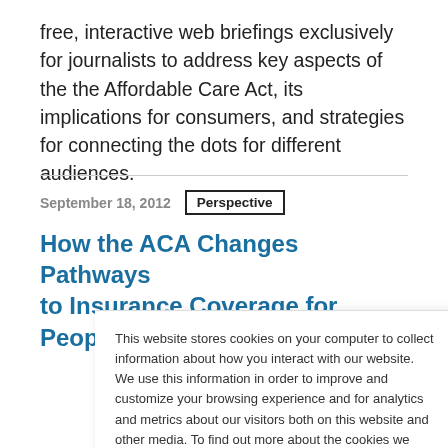free, interactive web briefings exclusively for journalists to address key aspects of the the Affordable Care Act, its implications for consumers, and strategies for connecting the dots for different audiences.
September 18, 2012  Perspective
How the ACA Changes Pathways to Insurance Coverage for People
This website stores cookies on your computer to collect information about how you interact with our website. We use this information in order to improve and customize your browsing experience and for analytics and metrics about our visitors both on this website and other media. To find out more about the cookies we use, see our Privacy Policy.
Accept